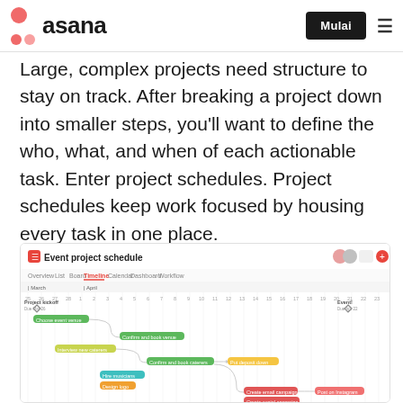asana  Mulai ≡
Large, complex projects need structure to stay on track. After breaking a project down into smaller steps, you'll want to define the who, what, and when of each actionable task. Enter project schedules. Project schedules keep work focused by housing every task in one place.
[Figure (screenshot): Asana Event project schedule timeline view showing a Gantt-style project schedule with colored task bars (green, teal, yellow, red, pink) connected by dependency arrows. Tasks include: Choose event venue, Confirm and book venue, Interview new caterers, Confirm and book caterers, Put deposit down, Hire musicians, Design logo, Create email campaign, Create social campaign, Begin event marketing. Project kickoff milestone on left, Event milestone on right.]